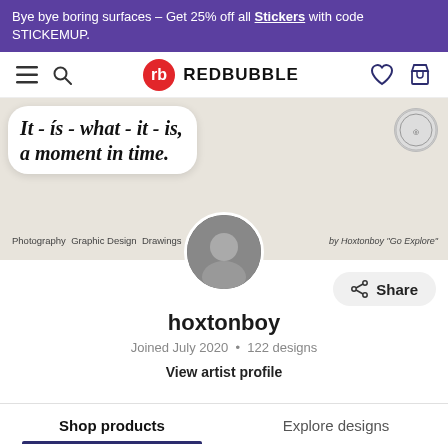Bye bye boring surfaces – Get 25% off all Stickers with code STICKEMUP.
[Figure (screenshot): Redbubble navigation bar with hamburger menu, search icon, Redbubble logo, heart icon and cart icon]
[Figure (illustration): Artist profile banner showing sticker with gothic text 'It - is - what - it - is, a moment in time.' with subtitle 'Photography Graphic Design Drawings' and byline 'by Hoxtonboy Go Explore', circular badge, and profile photo avatar]
hoxtonboy
Joined July 2020 • 122 designs
View artist profile
Shop products
Explore designs